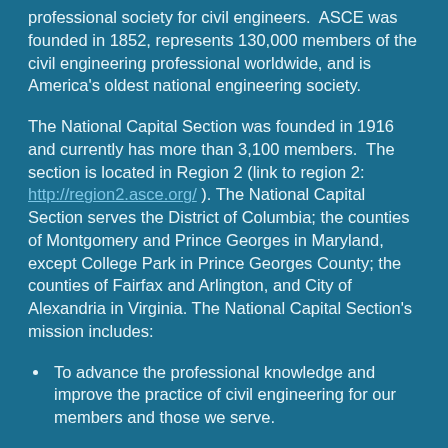professional society for civil engineers.  ASCE was founded in 1852, represents 130,000 members of the civil engineering professional worldwide, and is America's oldest national engineering society.
The National Capital Section was founded in 1916 and currently has more than 3,100 members.  The section is located in Region 2 (link to region 2: http://region2.asce.org/ ). The National Capital Section serves the District of Columbia; the counties of Montgomery and Prince Georges in Maryland, except College Park in Prince Georges County; the counties of Fairfax and Arlington, and City of Alexandria in Virginia. The National Capital Section's mission includes:
To advance the professional knowledge and improve the practice of civil engineering for our members and those we serve.